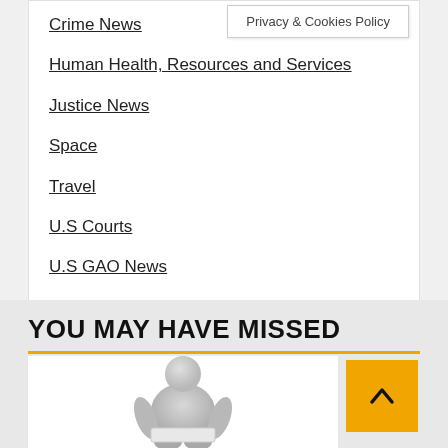Privacy & Cookies Policy
Crime News
Human Health, Resources and Services
Justice News
Space
Travel
U.S Courts
U.S GAO News
Uncategorized
Women's News
YOU MAY HAVE MISSED
[Figure (photo): 3D rendered gray figure of a person sitting and reading]